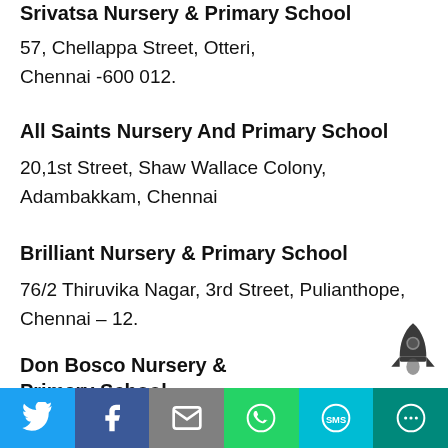Srivatsa Nursery & Primary School
57, Chellappa Street, Otteri, Chennai -600 012.
All Saints Nursery And Primary School
20,1st Street, Shaw Wallace Colony, Adambakkam, Chennai
Brilliant Nursery & Primary School
76/2 Thiruvika Nagar, 3rd Street, Pulianthope, Chennai – 12.
Don Bosco Nursery & Primary School
No. 67 Siruvallur Road, Perambur, Chennai – 82
[Figure (infographic): Social sharing bar with icons for Twitter, Facebook, Email, WhatsApp, SMS, and More. A rocket icon appears above the bar on the right side.]